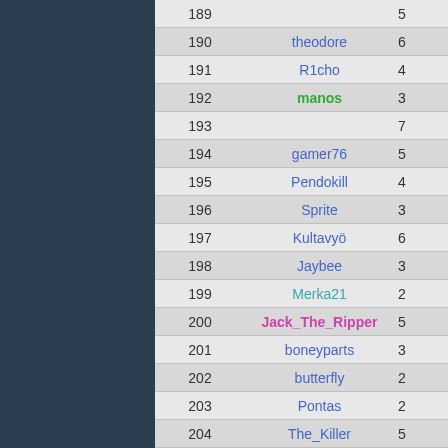| Rank | Name | Score |
| --- | --- | --- |
| 189 |  | 5 |
| 190 | theodore | 6 |
| 191 | R1cho | 4 |
| 192 | manos | 3 |
| 193 |  | 7 |
| 194 | gamer76 | 5 |
| 195 | Pendokill | 4 |
| 196 | Sprite | 3 |
| 197 | Kultavyö | 6 |
| 198 | Jaybee | 3 |
| 199 | Merka21 | 2 |
| 200 | Jack_The_Ripper | 5 |
| 201 | boneyparts | 3 |
| 202 | butterfly | 2 |
| 203 | Pontas | 2 |
| 204 | The_Killer | 5 |
| 205 | masodo | 4 |
| 206 | WoodPusher | 6 |